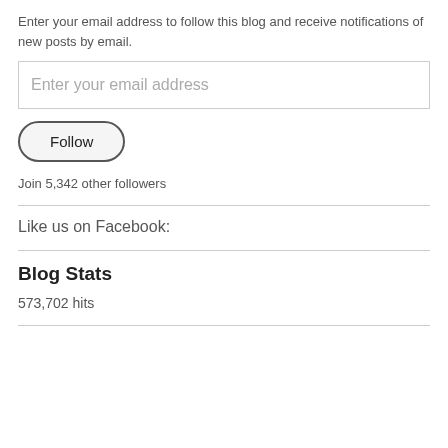Enter your email address to follow this blog and receive notifications of new posts by email.
Enter your email address
Follow
Join 5,342 other followers
Like us on Facebook:
Blog Stats
573,702 hits